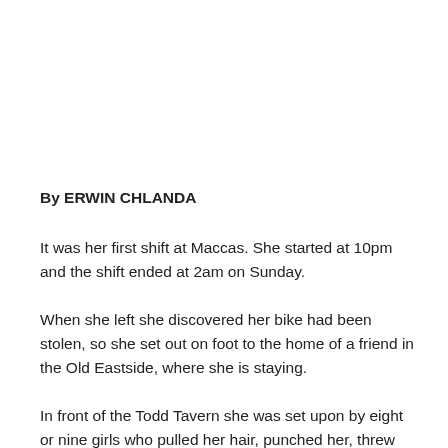By ERWIN CHLANDA
It was her first shift at Maccas. She started at 10pm and the shift ended at 2am on Sunday.
When she left she discovered her bike had been stolen, so she set out on foot to the home of a friend in the Old Eastside, where she is staying.
In front of the Todd Tavern she was set upon by eight or nine girls who pulled her hair, punched her, threw her to the ground